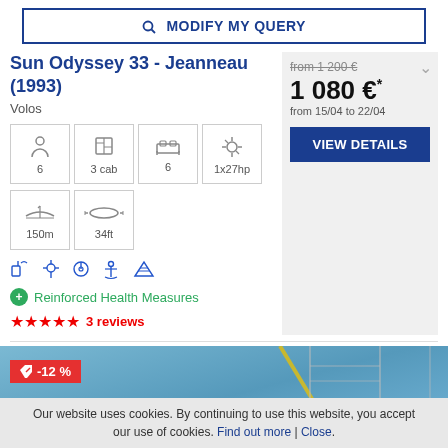🔍 MODIFY MY QUERY
Sun Odyssey 33 - Jeanneau (1993)
Volos
[Figure (infographic): Boat specs icons grid: 6 persons, 3 cab (cabins), 6 berths, 1x27hp engine, 150m mooring, 34ft length]
[Figure (infographic): Feature icons row: VHF, GPS, AUTO pilot, anchor, solar panel]
Reinforced Health Measures
3 reviews
from 1 200 €
1 080 €*
from 15/04 to 22/04
VIEW DETAILS
-12 %
Our website uses cookies. By continuing to use this website, you accept our use of cookies. Find out more | Close.